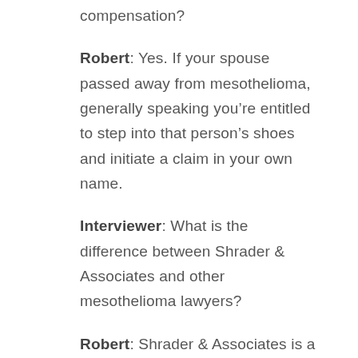compensation?
Robert: Yes. If your spouse passed away from mesothelioma, generally speaking you’re entitled to step into that person’s shoes and initiate a claim in your own name.
Interviewer: What is the difference between Shrader & Associates and other mesothelioma lawyers?
Robert: Shrader & Associates is a firm that’s specifically set up to litigate our client’s cases. We do not refer claims out. If you’re our client then we’re going to be your lawyers from the time that we meet to the time that the final checks are cut, or a trial